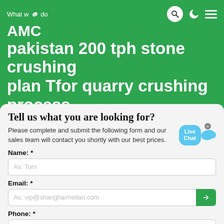What we do
AMC
pakistan 200 tph stone crushing plan Tfor quarry crushing process
Tell us what you are looking for?
Please complete and submit the following form and our sales team will contact you shortly with our best prices.
Name: *
As: Tom
Email: *
As: vip@shanghaimeilan.com
Phone: *
With Country Code